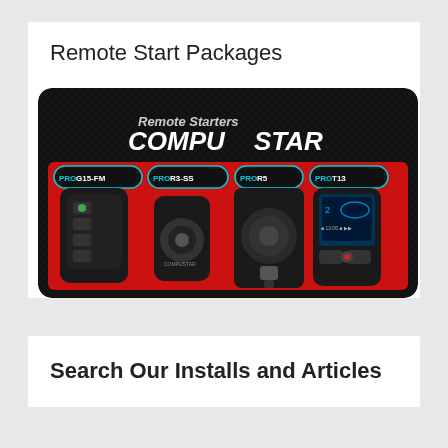Remote Start Packages
[Figure (photo): CompuStar Remote Starters product lineup showing PRO G15-FM, PRO R3-SS, PRO R5, and PRO T13 models on a black and red background with the CompuStar logo]
Search Our Installs and Articles